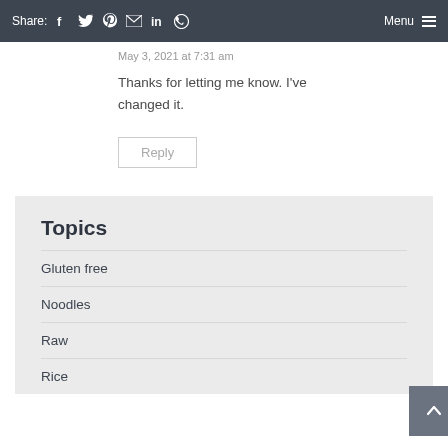Share: [facebook] [twitter] [pinterest] [email] [linkedin] [whatsapp]  Menu
May 3, 2021 at 7:31 am
Thanks for letting me know. I've changed it.
Reply
Topics
Gluten free
Noodles
Raw
Rice